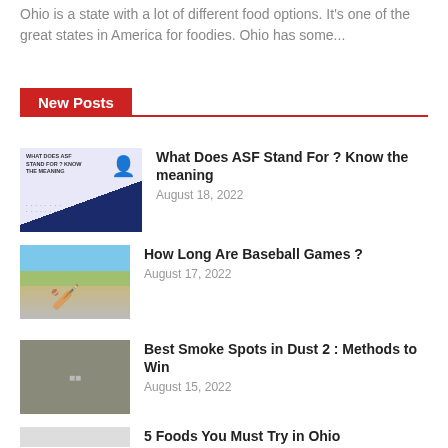Ohio is a state with a lot of different food options. It's one of the great states in America for foodies. Ohio has some...
New Posts
[Figure (illustration): Thumbnail image for ASF article with text and figure]
What Does ASF Stand For ? Know the meaning
August 18, 2022
[Figure (photo): Baseball game action photo]
How Long Are Baseball Games ?
August 17, 2022
[Figure (photo): Smoke spots in Dust 2 game screenshot]
Best Smoke Spots in Dust 2 : Methods to Win
August 15, 2022
[Figure (photo): Ohio food thumbnail]
5 Foods You Must Try in Ohio